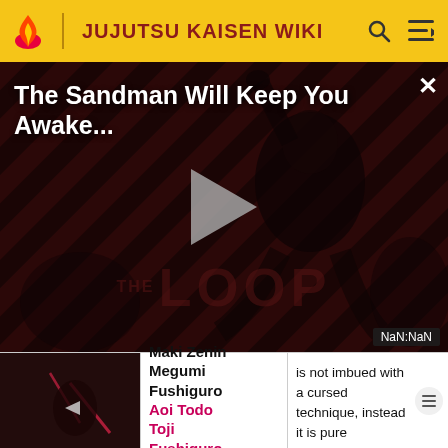JUJUTSU KAISEN WIKI
[Figure (screenshot): Video advertisement for 'The Sandman Will Keep You Awake...' showing a dark promotional image with diagonal stripes. A figure in dark clothing is visible, along with a play button in the center, 'THE LOOP' watermark text, and a NaN:NaN duration badge.]
| Image | Characters | Description |
| --- | --- | --- |
| [thumbnail] | Maki Zenin
Megumi Fushiguro
Aoi Todo
Toji Fushiguro | is not imbued with a cursed technique, instead it is pure destructive power that reflects the user's physical strength. |